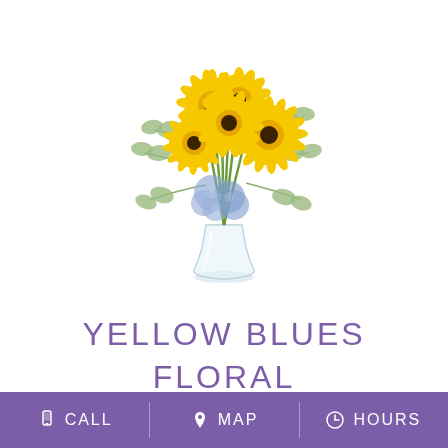[Figure (photo): A floral arrangement in a clear glass vase featuring yellow gerbera daisies, blue/purple hydrangeas, and green eucalyptus sprigs on a white background.]
YELLOW BLUES FLORAL
CALL   MAP   HOURS